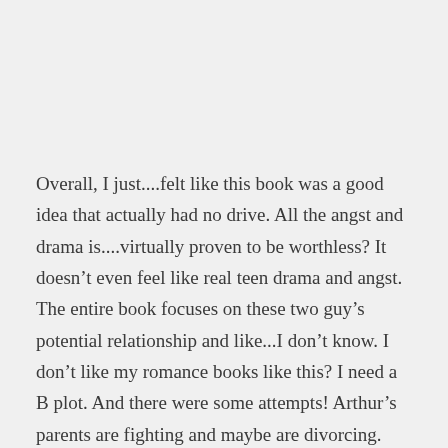Overall, I just....felt like this book was a good idea that actually had no drive. All the angst and drama is....virtually proven to be worthless? It doesn't even feel like real teen drama and angst. The entire book focuses on these two guy's potential relationship and like...I don't know. I don't like my romance books like this? I need a B plot. And there were some attempts! Arthur's parents are fighting and maybe are divorcing. Unfortunately they're so flat that I can't